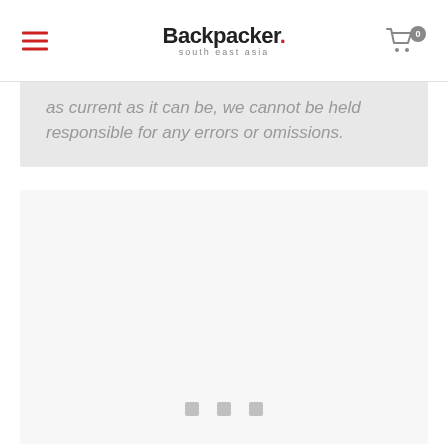Backpacker. south east asia — navigation header with hamburger menu and cart icon (0 items)
as current as it can be, we cannot be held responsible for any errors or omissions.
[Figure (other): Large light-colored content loading area with three small square dots/indicators at the bottom center, suggesting a loading or placeholder state.]